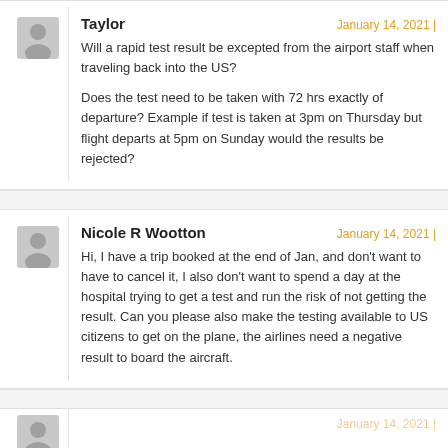Taylor — January 14, 2021
Will a rapid test result be excepted from the airport staff when traveling back into the US?

Does the test need to be taken with 72 hrs exactly of departure? Example if test is taken at 3pm on Thursday but flight departs at 5pm on Sunday would the results be rejected?
Nicole R Wootton — January 14, 2021
Hi, I have a trip booked at the end of Jan, and don't want to have to cancel it, I also don't want to spend a day at the hospital trying to get a test and run the risk of not getting the result. Can you please also make the testing available to US citizens to get on the plane, the airlines need a negative result to board the aircraft.